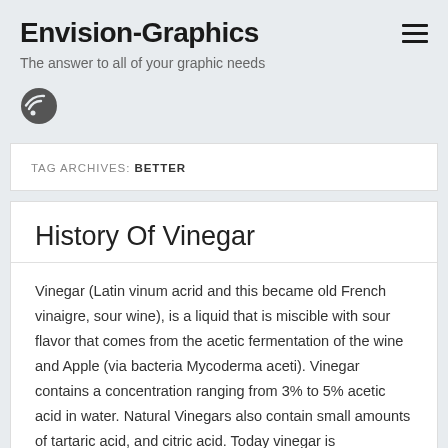Envision-Graphics
The answer to all of your graphic needs
[Figure (other): RSS feed icon, circular dark button with wifi-style signal symbol]
TAG ARCHIVES: BETTER
History Of Vinegar
Vinegar (Latin vinum acrid and this became old French vinaigre, sour wine), is a liquid that is miscible with sour flavor that comes from the acetic fermentation of the wine and Apple (via bacteria Mycoderma aceti). Vinegar contains a concentration ranging from 3% to 5% acetic acid in water. Natural Vinegars also contain small amounts of tartaric acid, and citric acid. Today vinegar is